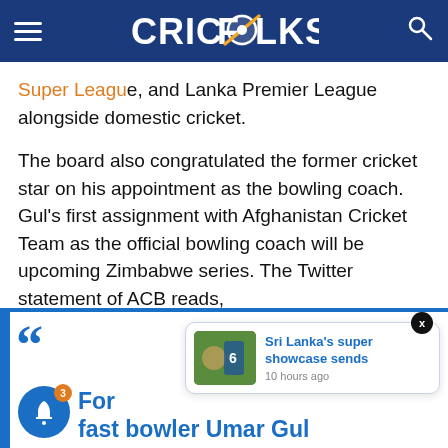CRICFOLKS
Super League, and Lanka Premier League alongside domestic cricket.
The board also congratulated the former cricket star on his appointment as the bowling coach. Gul's first assignment with Afghanistan Cricket Team as the official bowling coach will be upcoming Zimbabwe series. The Twitter statement of ACB reads,
[Figure (screenshot): Bottom portion of article page showing a notification popup for 'Sri Lanka's super showcase sends' posted 10 hours ago, with a bell icon showing 3 notifications, and blue text reading 'For... fast bowler Umar Gul']